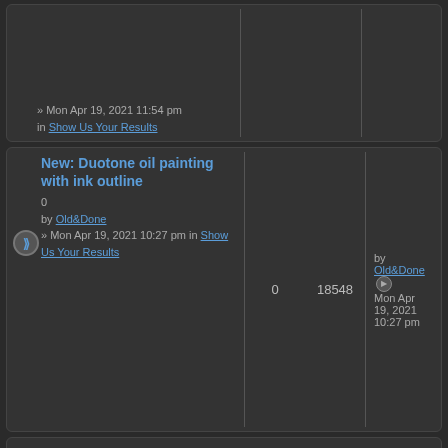| Topic |  | Replies | Views | Last post |
| --- | --- | --- | --- | --- |
| [topic - partial] |  |  |  | » Mon Apr 19, 2021 11:54 pm in Show Us Your Results |
| New: Duotone oil painting with ink outline
0
by Old&Done
» Mon Apr 19, 2021 10:27 pm in Show Us Your Results |  | 0 | 18548 | by Old&Done Mon Apr 19, 2021 10:27 pm |